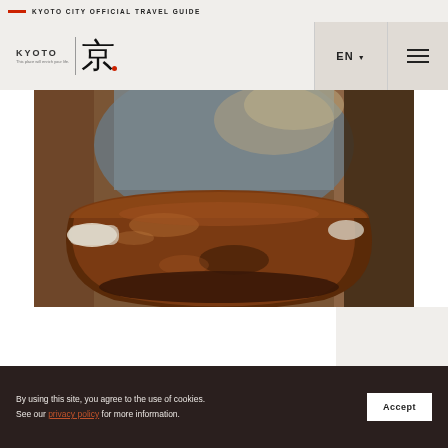KYOTO CITY OFFICIAL TRAVEL GUIDE
[Figure (logo): Kyoto city travel guide logo with KYOTO text, Japanese kanji character 京, and tagline]
[Figure (photo): Close-up photo of a craftsperson holding a large dark brown glazed ceramic bowl or pot, wearing a grey apron]
By using this site, you agree to the use of cookies. See our privacy policy for more information.
Accept